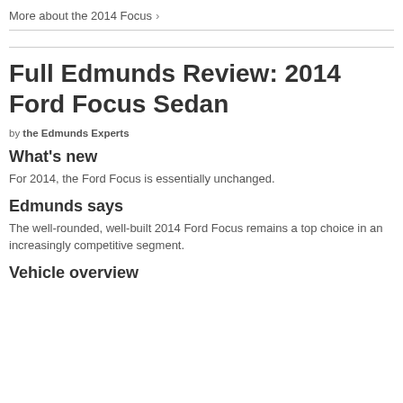More about the 2014 Focus >
Full Edmunds Review: 2014 Ford Focus Sedan
by the Edmunds Experts
What's new
For 2014, the Ford Focus is essentially unchanged.
Edmunds says
The well-rounded, well-built 2014 Ford Focus remains a top choice in an increasingly competitive segment.
Vehicle overview